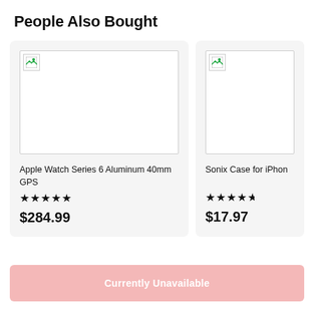People Also Bought
[Figure (photo): Product image placeholder for Apple Watch Series 6 Aluminum 40mm GPS (broken image icon)]
Apple Watch Series 6 Aluminum 40mm GPS
★★★★★
$284.99
[Figure (photo): Product image placeholder for Sonix Case for iPhone (broken image icon)]
Sonix Case for iPhon...
★★★★½
$17.97
Currently Unavailable